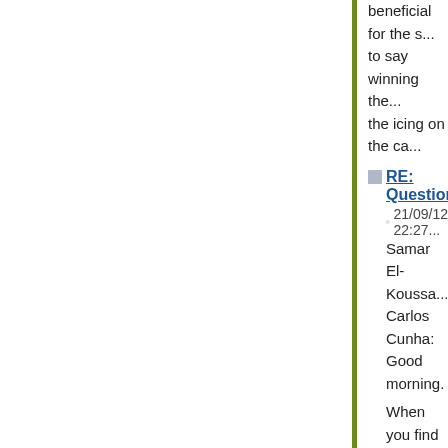beneficial for the s... to say winning the... the icing on the ca...
RE: Questions
21/09/12 22:27
Samar El-Koussa
Carlos Cunha:
Good morning.
When you find res... can be used in yo... always feel the res... inspiring for your w... think of any projec... welcome to take i... projects mentione...
Hello all,
I usually try to use... inspiring activities... lessons to motivat... their interest in sc...